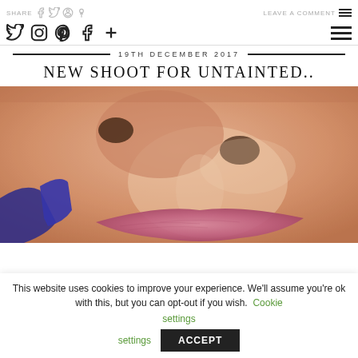SHARE  LEAVE A COMMENT ☰
🐦 📷 🅟 🅕 +
19TH DECEMBER 2017
NEW SHOOT FOR UNTAINTED..
[Figure (photo): Extreme close-up macro photo of a person's lower face showing nose, skin texture, and lips being touched by a blue nail-polished finger applying something to the upper lip.]
This website uses cookies to improve your experience. We'll assume you're ok with this, but you can opt-out if you wish. Cookie settings ACCEPT